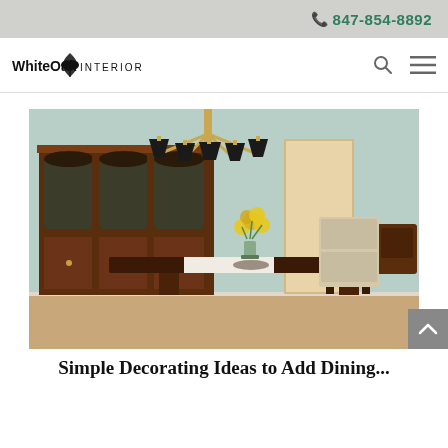847-854-8892
[Figure (logo): WhiteOak Interiors logo with oak leaf icon]
[Figure (photo): Elegant dining room with dark wood furniture, a large china cabinet, a chandelier with black shades, a dining table with white runner and yellow flower bouquet, against light blue-green walls]
Simple Decorating Ideas to Add Dining...